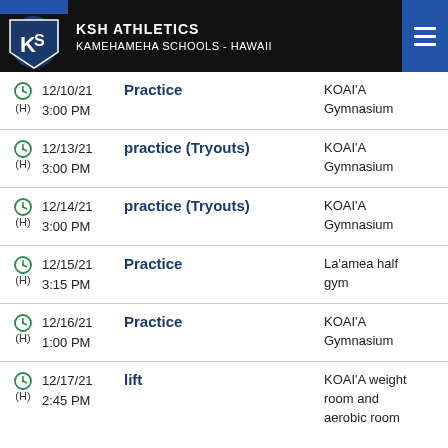KSH ATHLETICS KAMEHAMEHA SCHOOLS - HAWAII
12/10/21 3:00 PM | Practice | KOAI'A Gymnasium
12/13/21 3:00 PM | practice (Tryouts) | KOAI'A Gymnasium
12/14/21 3:00 PM | practice (Tryouts) | KOAI'A Gymnasium
12/15/21 3:15 PM | Practice | La'amea half gym
12/16/21 1:00 PM | Practice | KOAI'A Gymnasium
12/17/21 2:45 PM | lift | KOAI'A weight room and aerobic room